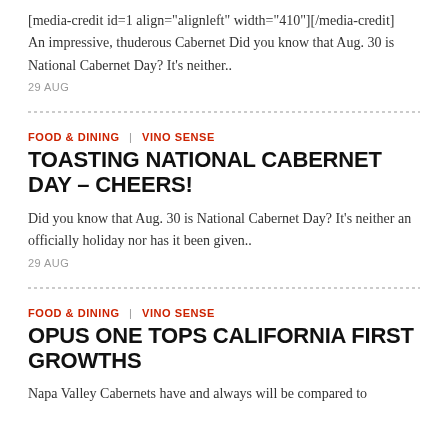[media-credit id=1 align="alignleft" width="410"][/media-credit] An impressive, thuderous Cabernet Did you know that Aug. 30 is National Cabernet Day? It's neither..
29 AUG
FOOD & DINING  |  VINO SENSE
TOASTING NATIONAL CABERNET DAY – CHEERS!
Did you know that Aug. 30 is National Cabernet Day? It's neither an officially holiday nor has it been given..
29 AUG
FOOD & DINING  |  VINO SENSE
OPUS ONE TOPS CALIFORNIA FIRST GROWTHS
Napa Valley Cabernets have and always will be compared to